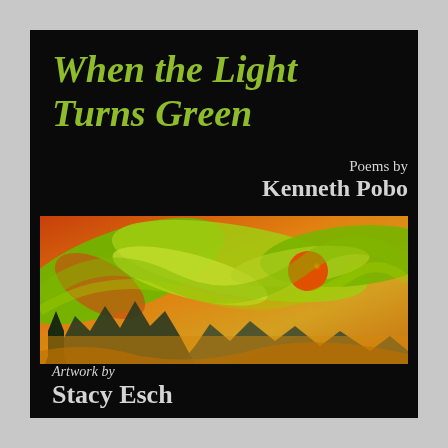When the Light Turns Green
Poems by Kenneth Pobo
[Figure (illustration): Abstract swirling painting with green, yellow, orange, and red tones depicting a landscape with trees, mountains, and an orange sun]
Artwork by Stacy Esch